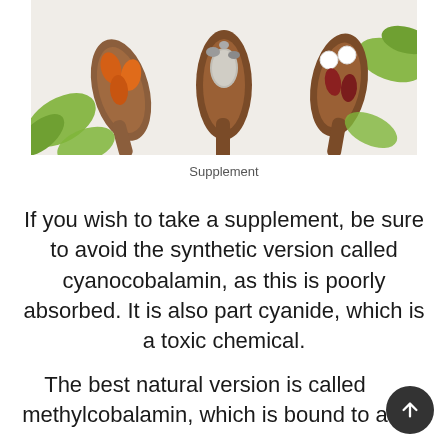[Figure (photo): Photo of wooden spoons holding various vitamins and supplements (orange capsules, gray tablets, white pills, red capsules) with green leaves on a white background.]
Supplement
If you wish to take a supplement, be sure to avoid the synthetic version called cyanocobalamin, as this is poorly absorbed. It is also part cyanide, which is a toxic chemical.
The best natural version is called methylcobalamin, which is bound to a